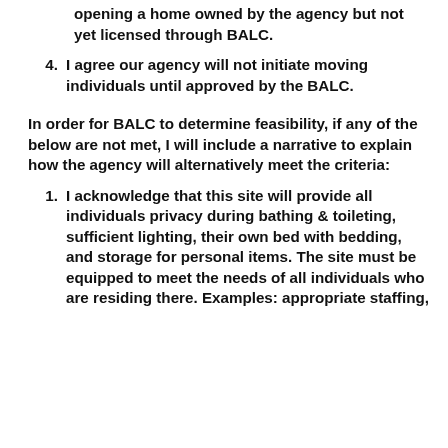opening a home owned by the agency but not yet licensed through BALC.
I agree our agency will not initiate moving individuals until approved by the BALC.
In order for BALC to determine feasibility, if any of the below are not met, I will include a narrative to explain how the agency will alternatively meet the criteria:
I acknowledge that this site will provide all individuals privacy during bathing & toileting, sufficient lighting, their own bed with bedding, and storage for personal items. The site must be equipped to meet the needs of all individuals who are residing there. Examples: appropriate staffing,